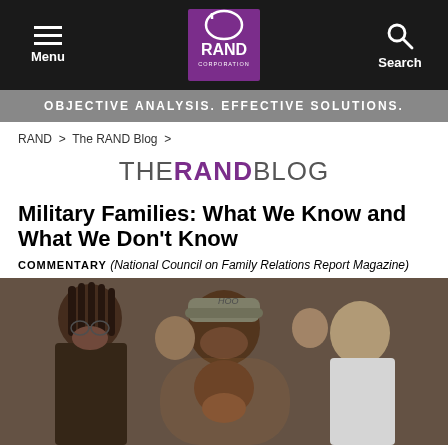Menu | RAND Corporation | Search
OBJECTIVE ANALYSIS. EFFECTIVE SOLUTIONS.
RAND > The RAND Blog >
THE RAND BLOG
Military Families: What We Know and What We Don't Know
COMMENTARY (National Council on Family Relations Report Magazine)
[Figure (photo): A smiling military family reunion scene — a soldier in uniform cap embraces laughing family members, with others in the background.]